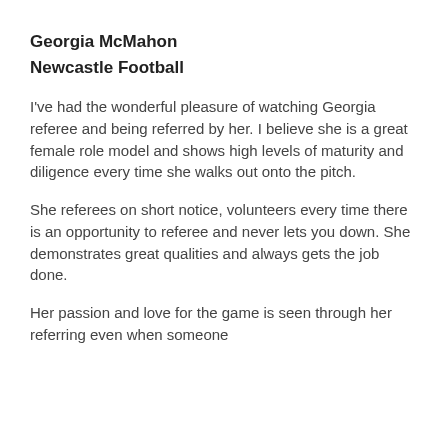Georgia McMahon
Newcastle Football
I've had the wonderful pleasure of watching Georgia referee and being referred by her. I believe she is a great female role model and shows high levels of maturity and diligence every time she walks out onto the pitch.
She referees on short notice, volunteers every time there is an opportunity to referee and never lets you down. She demonstrates great qualities and always gets the job done.
Her passion and love for the game is seen through her referring even when someone